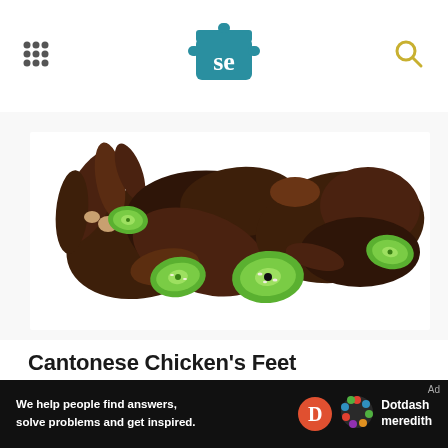[Figure (logo): Serious Eats logo — teal pot icon with 'se' text in white, centered in header]
[Figure (photo): Cantonese chicken's feet — dark braised chicken feet with sliced green jalapeños on white surface]
Cantonese Chicken's Feet
Recipe Facts
5 (1)
[Figure (other): Dotdash Meredith ad — 'We help people find answers, solve problems and get inspired.' with Dotdash Meredith logo on black background]